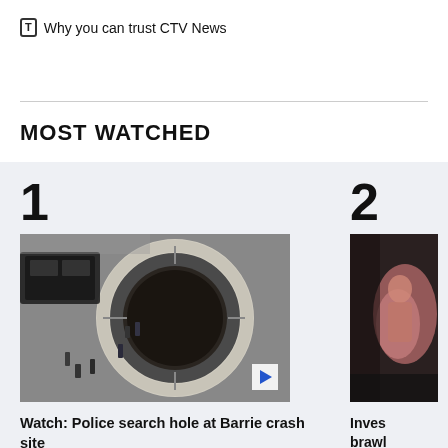Why you can trust CTV News
MOST WATCHED
[Figure (photo): Aerial view of police searching a large circular hole/tunnel at a crash site in Barrie. A black SUV and several people in safety gear are visible around the concrete-rimmed hole.]
Watch: Police search hole at Barrie crash site
[Figure (photo): Partially visible image of a brawl scene, person visible with reddish lighting.]
Inves brawl